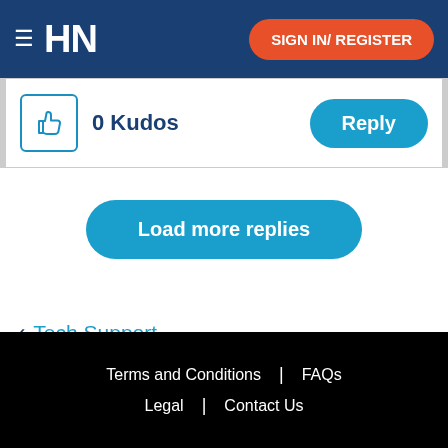HN | SIGN IN/ REGISTER
0 Kudos   Reply
Load more replies
< Tech Support
Terms and Conditions | FAQs | Legal | Contact Us